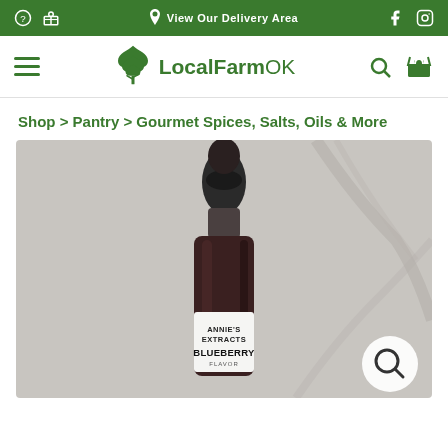View Our Delivery Area
[Figure (logo): LocalFarmOK logo with tree icon and green text]
Shop > Pantry > Gourmet Spices, Salts, Oils & More
[Figure (photo): Close-up photo of a dark amber dropper bottle labeled Annie's Extracts Blueberry Flavor on a marble/stone surface]